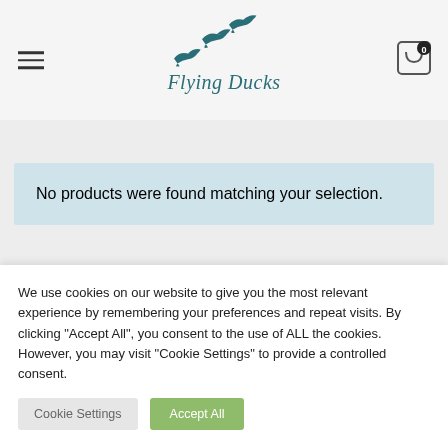[Figure (logo): Flying Ducks logo: three teal flying ducks above the text 'Flying Ducks' in italic teal serif font]
No products were found matching your selection.
We use cookies on our website to give you the most relevant experience by remembering your preferences and repeat visits. By clicking “Accept All”, you consent to the use of ALL the cookies. However, you may visit “Cookie Settings” to provide a controlled consent.